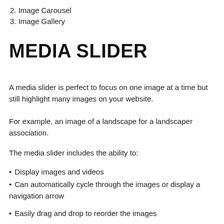2. Image Carousel
3. Image Gallery
MEDIA SLIDER
A media slider is perfect to focus on one image at a time but still highlight many images on your website.
For example, an image of a landscape for a landscaper association.
The media slider includes the ability to:
Display images and videos
Can automatically cycle through the images or display a navigation arrow
Easily drag and drop to reorder the images